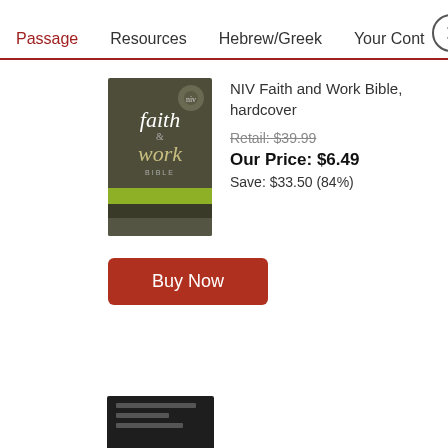Passage   Resources   Hebrew/Greek   Your Cont…
[Figure (photo): Book cover of NIV Faith and Work Bible, hardcover — dark olive/grey cover with the words 'faith' and 'work' in italic serif font, a green stripe near the bottom, and a circular logo at top right.]
NIV Faith and Work Bible, hardcover
Retail: $39.99
Our Price: $6.49
Save: $33.50 (84%)
[Figure (other): Buy Now button — dark red/maroon rounded rectangle button with white text 'Buy Now']
[Figure (photo): Partial view of a second book cover — dark/black cover, partially visible at the bottom of the page.]